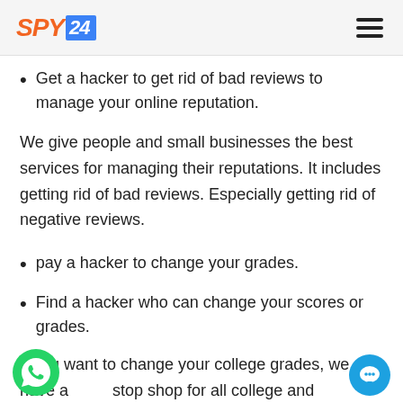SPY24
Get a hacker to get rid of bad reviews to manage your online reputation.
We give people and small businesses the best services for managing their reputations. It includes getting rid of bad reviews. Especially getting rid of negative reviews.
pay a hacker to change your grades.
Find a hacker who can change your scores or grades.
If you want to change your college grades, we have a one stop shop for all college and university grade changes. Hackers can do anything with the online